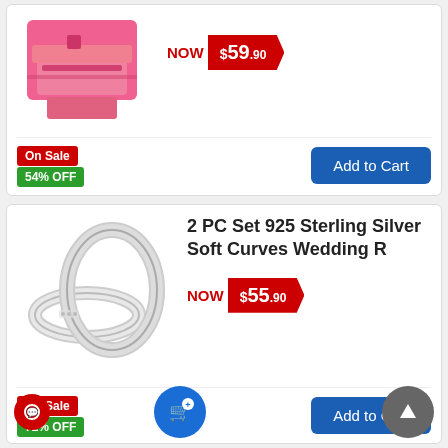[Figure (photo): Pink jewelry box product image (partially visible at top)]
NOW $59.90
On Sale
54% OFF
Add to Cart
[Figure (photo): Two 925 sterling silver wedding rings on white background]
2 PC Set 925 Sterling Silver Soft Curves Wedding R
NOW $55.90
On Sale
72% OFF
Add to Cart
2 PC S...